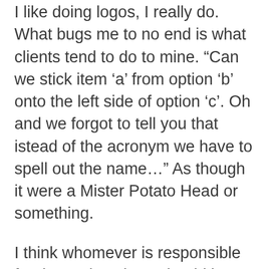I like doing logos, I really do. What bugs me to no end is what clients tend to do to mine. “Can we stick item ‘a’ from option ‘b’ onto the left side of option ‘c’. Oh and we forgot to tell you that istead of the acronym we have to spell out the name…” As though it were a Mister Potato Head or something.
I think whomever is responsible for the Verizon logo should be publicly caned. A bad logo is bad enough but my gosh I must see the verizon logo 100 times a day.
I’m really fond of the British